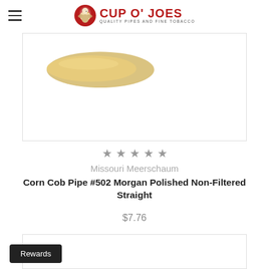Cup O' Joes - Quality Pipes and Fine Tobacco
[Figure (photo): Partial view of a corn cob pipe against a white background, showing the bowl area with a golden/tan color]
★★★★★
Missouri Meerschaum
Corn Cob Pipe #502 Morgan Polished Non-Filtered Straight
$7.76
[Figure (photo): Bottom portion of a product card, partially visible]
Rewards